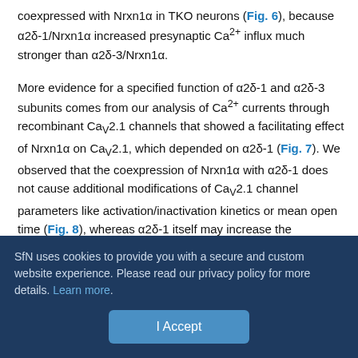coexpressed with Nrxn1α in TKO neurons (Fig. 6), because α2δ-1/Nrxn1α increased presynaptic Ca2+ influx much stronger than α2δ-3/Nrxn1α.
More evidence for a specified function of α2δ-1 and α2δ-3 subunits comes from our analysis of Ca2+ currents through recombinant CaV2.1 channels that showed a facilitating effect of Nrxn1α on CaV2.1, which depended on α2δ-1 (Fig. 7). We observed that the coexpression of Nrxn1α with α2δ-1 does not cause additional modifications of CaV2.1 channel parameters like activation/inactivation kinetics or mean open time (Fig. 8), whereas α2δ-1 itself may increase the inactivation rate of α1A channels (Felix et al., 1997). Thus, our data suggest that the Nrxn1α-induced effect, which requires α2δ-1, may alter the surface expression of...
SfN uses cookies to provide you with a secure and custom website experience. Please read our privacy policy for more details. Learn more.